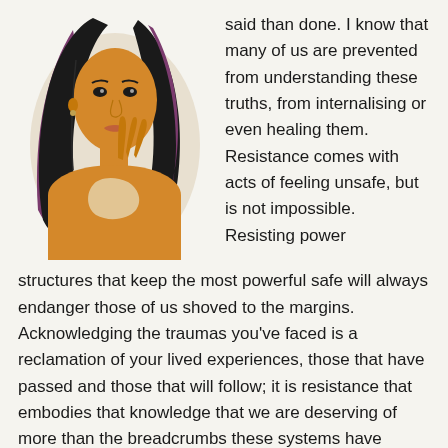[Figure (illustration): Illustration of a young woman with long black hair with purple highlights, wearing a yellow/ochre garment, holding her hair. The figure is rendered in a flat graphic style with warm yellow-orange skin tones against a light background.]
said than done. I know that many of us are prevented from understanding these truths, from internalising or even healing them. Resistance comes with acts of feeling unsafe, but is not impossible. Resisting power structures that keep the most powerful safe will always endanger those of us shoved to the margins. Acknowledging the traumas you've faced is a reclamation of your lived experiences, those that have passed and those that will follow; it is resistance that embodies that knowledge that we are deserving of more than the breadcrumbs these systems have forced us to lap up. It is a resistance that understands that pleasure is complicated by trauma, but it can be accessed in arbitrary and powerful ways. It is a resistance that